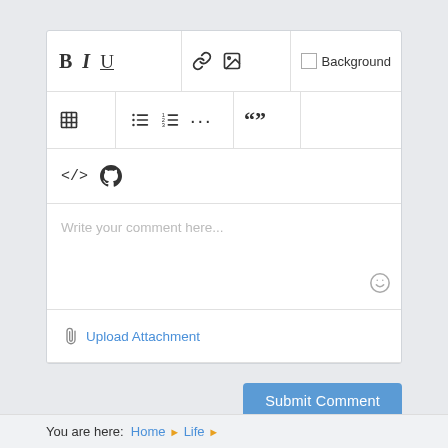[Figure (screenshot): Comment editor toolbar with formatting icons: Bold (B), Italic (I), Underline (U), link icon, image icon, table icon, unordered list, ordered list, more (...), blockquote, Background checkbox, code (</>) and GitHub Octocat icon. Below toolbar is a comment text area with placeholder 'Write your comment here...' and a smiley emoji icon at bottom right. Below that an Upload Attachment link and a Submit Comment button.]
Write your comment here...
Upload Attachment
Submit Comment
You are here:  Home  ▶  Life  ▶